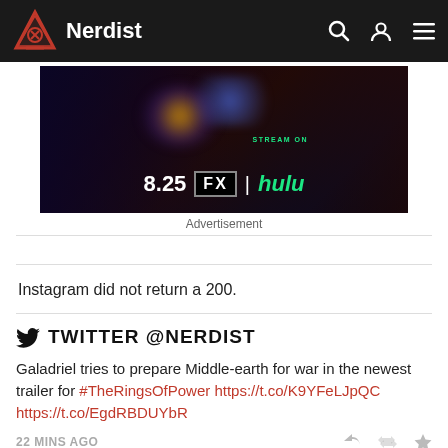Nerdist
[Figure (illustration): Animated show advertisement banner for FX on Hulu, showing cartoon characters in a fight scene with energy blasts. Text reads '8.25 FX | hulu' with 'STREAM ON' text above hulu.]
Advertisement
Instagram did not return a 200.
TWITTER @NERDIST
Galadriel tries to prepare Middle-earth for war in the newest trailer for #TheRingsOfPower https://t.co/K9YFeLJpQC https://t.co/EgdRBDUYbR
22 MINS AGO
FOLLOW US ON TWITTER